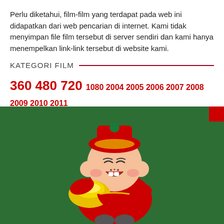Perlu diketahui, film-film yang terdapat pada web ini didapatkan dari web pencarian di internet. Kami tidak menyimpan file film tersebut di server sendiri dan kami hanya menempelkan link-link tersebut di website kami.
KATEGORI FILM
360 480 720 1080 2004 2005 2006 2007 2008 2009 2010 2011 2012 2013 2014 2015 2016 2017 2018 Action Adventure Animation Australia Biography Canada China Comedy Crime Drama Family Fantasy France ...
[Figure (illustration): Cartoon Chinese fortune god character in red traditional outfit, smiling and hugging a gold ingot, on a dark green background]